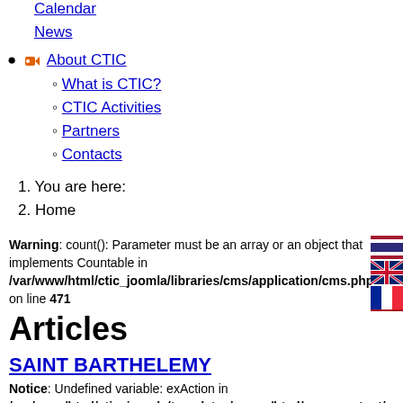Calendar
News
About CTIC
What is CTIC?
CTIC Activities
Partners
Contacts
1. You are here:
2. Home
Warning: count(): Parameter must be an array or an object that implements Countable in /var/www/html/ctic_joomla/libraries/cms/application/cms.php on line 471
Articles
SAINT BARTHELEMY
Notice: Undefined variable: exAction in /var/www/html/ctic_joomla/templates/cepon/html/com_content/a